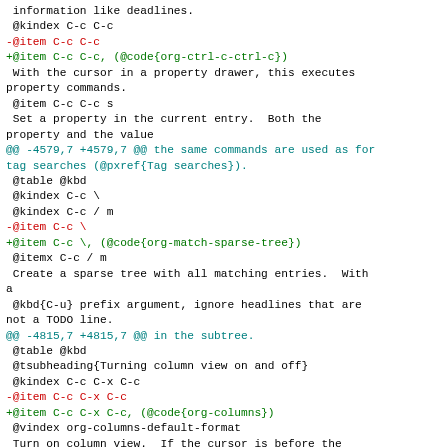Diff hunk showing changes to org-mode documentation texi file including property drawer commands, column view toggles, and sparse tree matching entries.